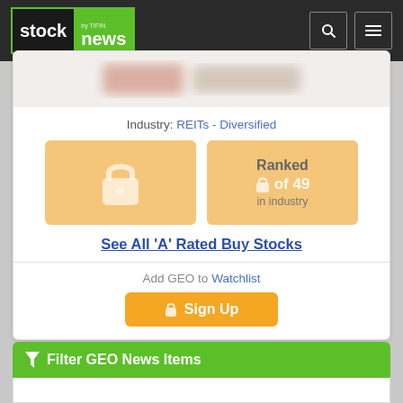[Figure (screenshot): StockNews by TIFIN navigation bar with logo and search/menu icons]
Industry: REITs - Diversified
[Figure (infographic): Two orange rating boxes: left has a lock icon (locked rating), right shows 'Ranked [lock] of 49 in industry']
See All 'A' Rated Buy Stocks
Add GEO to Watchlist
Sign Up
Filter GEO News Items